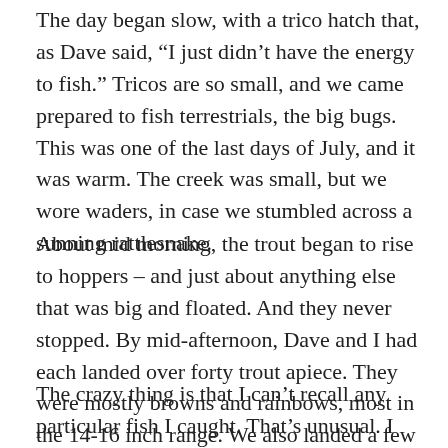The day began slow, with a trico hatch that, as Dave said, “I just didn’t have the energy to fish.” Tricos are so small, and we came prepared to fish terrestrials, the big bugs. This was one of the last days of July, and it was warm. The creek was small, but we wore waders, in case we stumbled across a sunning rattlesnake.
About mid morning, the trout began to rise to hoppers – and just about anything else that was big and floated. And they never stopped. By mid-afternoon, Dave and I had each landed over forty trout apiece. They were mostly browns and rainbows, most in the 14-16 inch range. We also landed a few brookies and a couple West Slope Cutthroat.
The crazy thing is that I can’t recall any particular fish I caught. That’s unusual. I usually remember the 17-inch